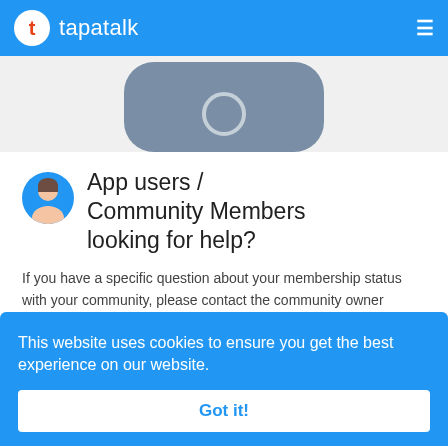tapatalk
[Figure (illustration): Bottom portion of a smartphone illustration showing the lower bezel with a circular home button, rendered in blue-grey color]
App users / Community Members looking for help?
If you have a specific question about your membership status with your community, please contact the community owner directly at their website. Otherwise, if you have an issue with Tapatalk app and our website, please click the "Contact Us" button on the Tapatalk mobile app, we'll be able to assist you from there.
This website uses cookies to ensure you get the best experience on our website.
Got it!